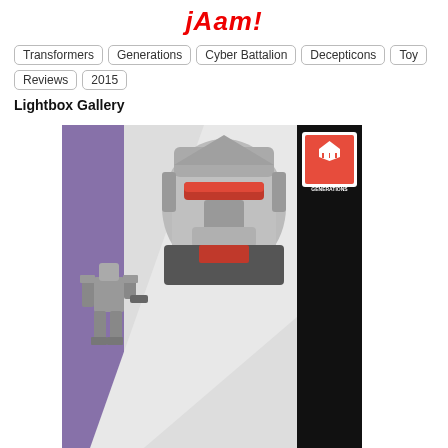jAam!
Transformers
Generations
Cyber Battalion
Decepticons
Toy Reviews
2015
Lightbox Gallery
[Figure (photo): Transformers Generations Cyber Battalion Megatron toy in box. The box shows a robot (Megatron) in silver/grey with purple accents in robot mode, plus a smaller full-body robot image. The box has a black right side panel with red vertical TRANSFORMERS text and a Generations logo. The background of the box art is white/grey with purple diagonal sections.]